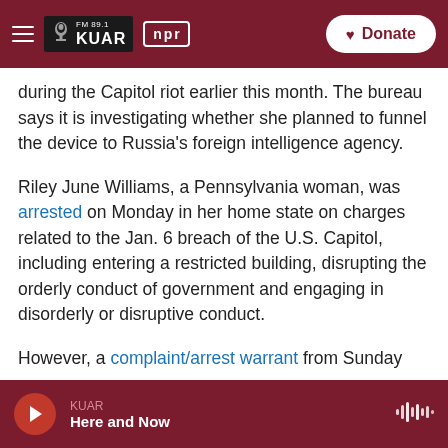FM 89.1 KUAR | NPR | Donate
during the Capitol riot earlier this month. The bureau says it is investigating whether she planned to funnel the device to Russia's foreign intelligence agency.
Riley June Williams, a Pennsylvania woman, was arrested on Monday in her home state on charges related to the Jan. 6 breach of the U.S. Capitol, including entering a restricted building, disrupting the orderly conduct of government and engaging in disorderly or disruptive conduct.
However, a complaint/arrest warrant from Sunday
KUAR — Here and Now